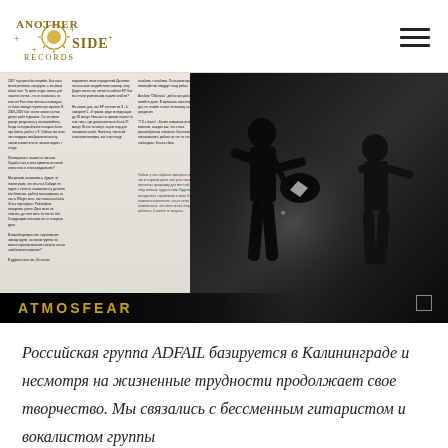Another Side Records logo and navigation
[Figure (photo): Photograph of an open magazine spread showing text columns and a dark performance photo of a silhouetted guitarist on stage. The magazine page shows Russian text in multiple columns and bears the label ATMOSFEAR at the bottom.]
Российская группа ADFAIL базируется в Калининграде и несмотря на жизненные трудности продолжает свое творчество. Мы связались с бессменным гитаристом и вокалистом группы